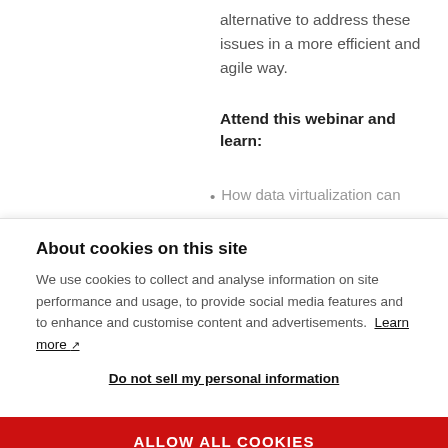alternative to address these issues in a more efficient and agile way.
Attend this webinar and learn:
How data virtualization can
About cookies on this site
We use cookies to collect and analyse information on site performance and usage, to provide social media features and to enhance and customise content and advertisements. Learn more
Do not sell my personal information
ALLOW ALL COOKIES